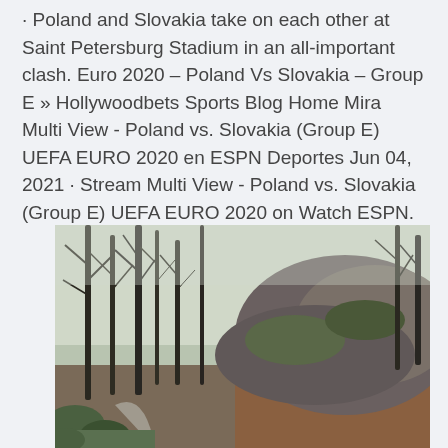· Poland and Slovakia take on each other at Saint Petersburg Stadium in an all-important clash. Euro 2020 – Poland Vs Slovakia – Group E » Hollywoodbets Sports Blog Home Mira Multi View - Poland vs. Slovakia (Group E) UEFA EURO 2020 en ESPN Deportes Jun 04, 2021 · Stream Multi View - Poland vs. Slovakia (Group E) UEFA EURO 2020 on Watch ESPN.
[Figure (photo): A forest road scene with bare deciduous trees and a rocky hillside covered with moss and fallen leaves. The road curves through the trees on the left, and a steep rocky embankment rises on the right side of the image.]